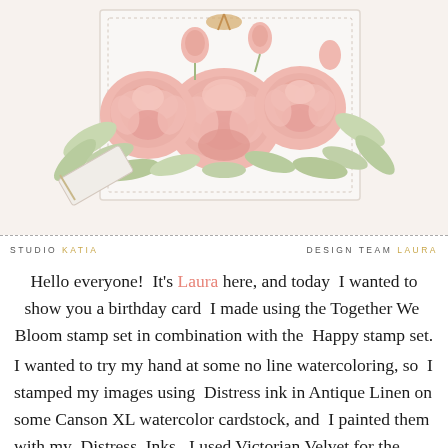[Figure (photo): A greeting card decorated with large pink peony flowers and green leaves, photographed from above on a light background]
STUDIO KATIA   DESIGN TEAM LAURA
Hello everyone! It's Laura here, and today I wanted to show you a birthday card I made using the Together We Bloom stamp set in combination with the Happy stamp set.
I wanted to try my hand at some no line watercoloring, so I stamped my images using Distress ink in Antique Linen on some Canson XL watercolor cardstock, and I painted them with my Distress Inks. I used Victorian Velvet for the flowers and Bundled Sage for the leaves. Once my images were dry, I cut them out using the